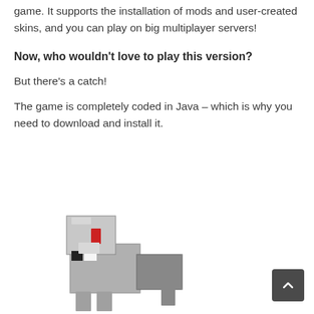game. It supports the installation of mods and user-created skins, and you can play on big multiplayer servers!
Now, who wouldn't love to play this version?
But there's a catch!
The game is completely coded in Java – which is why you need to download and install it.
[Figure (illustration): Minecraft character (cow or player) rendered in blocky pixel art style, partially visible at the bottom of the page]